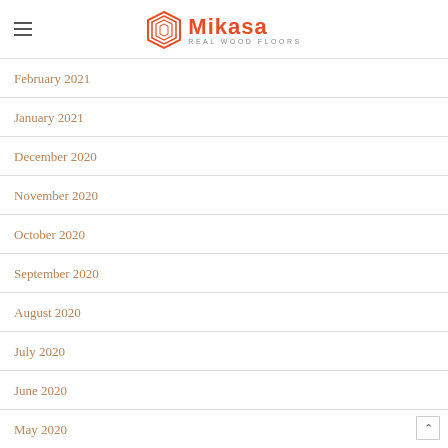Mikasa Real Wood Floors
February 2021
January 2021
December 2020
November 2020
October 2020
September 2020
August 2020
July 2020
June 2020
May 2020
April 2020